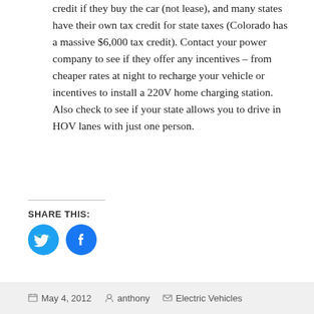credit if they buy the car (not lease), and many states have their own tax credit for state taxes (Colorado has a massive $6,000 tax credit). Contact your power company to see if they offer any incentives – from cheaper rates at night to recharge your vehicle or incentives to install a 220V home charging station. Also check to see if your state allows you to drive in HOV lanes with just one person.
SHARE THIS:
[Figure (other): Twitter and Facebook social share buttons (blue circular icons)]
May 4, 2012   anthony   Electric Vehicles